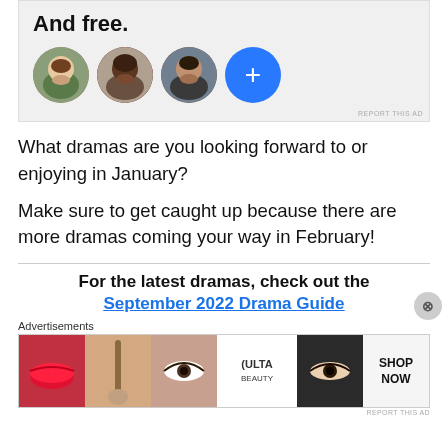[Figure (screenshot): Advertisement banner with bold text 'And free.' and three circular face avatars plus a blue circle with plus sign. 'REPORT THIS AD' text in small print at bottom right.]
What dramas are you looking forward to or enjoying in January?
Make sure to get caught up because there are more dramas coming your way in February!
For the latest dramas, check out the
September 2022 Drama Guide
[Figure (screenshot): Ulta Beauty advertisement banner showing makeup/cosmetics imagery with 'SHOP NOW' text. 'REPORT THIS AD' in small print at bottom right. 'Advertisements' label above.]